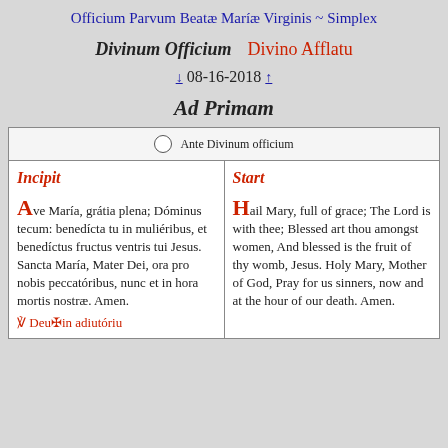Officium Parvum Beatæ Maríæ Virginis ~ Simplex
Divinum Officium   Divino Afflatu
↓ 08-16-2018 ↑
Ad Primam
Ante Divinum officium
Incipit

Ave María, grátia plena; Dóminus tecum: benedícta tu in muliéribus, et benedíctus fructus ventris tui Jesus. Sancta María, Mater Dei, ora pro nobis peccatóribus, nunc et in hora mortis nostræ. Amen.
Start

Hail Mary, full of grace; The Lord is with thee; Blessed art thou amongst women, And blessed is the fruit of thy womb, Jesus. Holy Mary, Mother of God, Pray for us sinners, now and at the hour of our death. Amen.